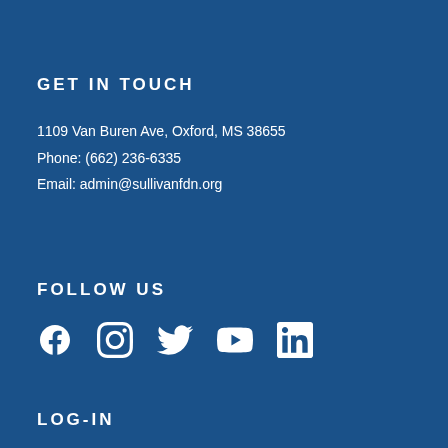GET IN TOUCH
1109 Van Buren Ave, Oxford, MS 38655
Phone: (662) 236-6335
Email: admin@sullivanfdn.org
FOLLOW US
[Figure (illustration): Social media icons: Facebook, Instagram, Twitter, YouTube, LinkedIn]
LOG-IN